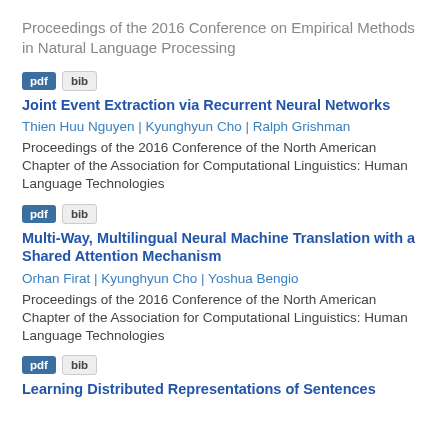Proceedings of the 2016 Conference on Empirical Methods in Natural Language Processing
pdf   bib
Joint Event Extraction via Recurrent Neural Networks
Thien Huu Nguyen | Kyunghyun Cho | Ralph Grishman
Proceedings of the 2016 Conference of the North American Chapter of the Association for Computational Linguistics: Human Language Technologies
pdf   bib
Multi-Way, Multilingual Neural Machine Translation with a Shared Attention Mechanism
Orhan Firat | Kyunghyun Cho | Yoshua Bengio
Proceedings of the 2016 Conference of the North American Chapter of the Association for Computational Linguistics: Human Language Technologies
pdf   bib
Learning Distributed Representations of Sentences